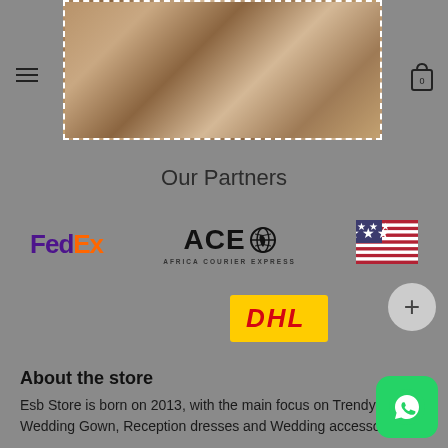[Figure (photo): Top banner image showing textured brown/tan granular material (e.g. soil or seeds) with a dashed white border, partially visible behind a gray overlay. Menu hamburger icon on left, cart icon on right.]
Our Partners
[Figure (logo): FedEx logo with 'Fed' in purple and 'Ex' in orange]
[Figure (logo): ACE (Africa Courier Express) logo with bold ACE text and globe icon, subtitle 'AFRICA COURIER EXPRESS']
[Figure (illustration): US flag (stars and stripes)]
[Figure (logo): DHL logo with red italic text on yellow background]
About the store
Esb Store is born on 2013, with the main focus on Trendy and Wedding Gown, Reception dresses and Wedding accessories.